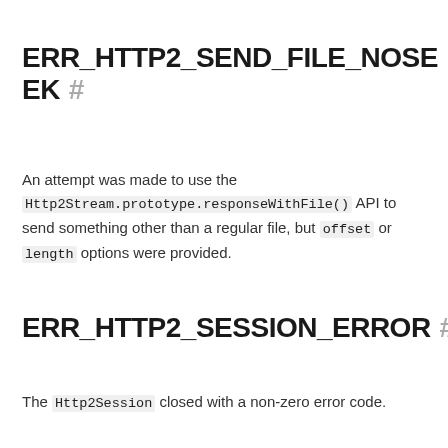ERR_HTTP2_SEND_FILE_NOSEEK #
An attempt was made to use the Http2Stream.prototype.responseWithFile() API to send something other than a regular file, but offset or length options were provided.
ERR_HTTP2_SESSION_ERROR #
The Http2Session closed with a non-zero error code.